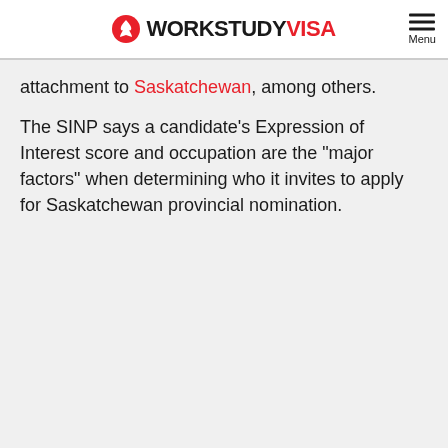WORKSTUDY VISA
attachment to Saskatchewan, among others.
The SINP says a candidate’s Expression of Interest score and occupation are the “major factors” when determining who it invites to apply for Saskatchewan provincial nomination.